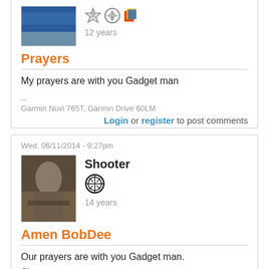[Figure (photo): User avatar photo - blue water/ocean image, partially visible at top]
12 years
Prayers
My prayers are with you Gadget man
--
Garmin Nuvi 765T, Garmin Drive 60LM
Login or register to post comments
Wed, 06/11/2014 - 9:27pm
[Figure (photo): User avatar photo - person with dark image, military/action scene]
Shooter
14 years
Amen BobDee
Our prayers are with you Gadget man.
Shooter